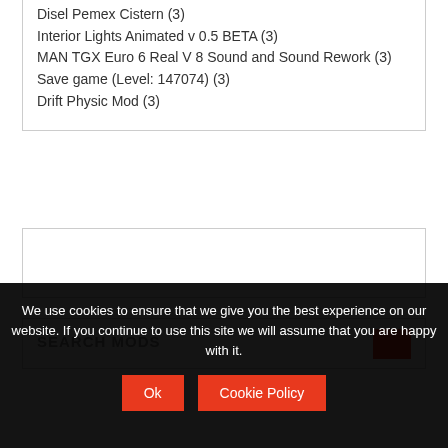Disel Pemex Cistern (3)
Interior Lights Animated v 0.5 BETA (3)
MAN TGX Euro 6 Real V 8 Sound and Sound Rework (3)
Save game (Level: 147074) (3)
Drift Physic Mod (3)
SEARCH MODS
We use cookies to ensure that we give you the best experience on our website. If you continue to use this site we will assume that you are happy with it.
Ok
Cookie Policy